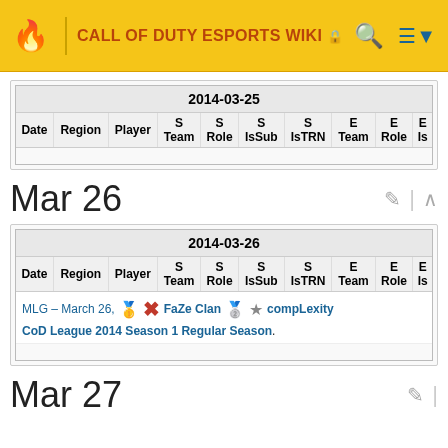CALL OF DUTY ESPORTS WIKI
Mar 26
| Date | Region | Player | S Team | S Role | S IsSub | S IsTRN | E Team | E Role | Is |
| --- | --- | --- | --- | --- | --- | --- | --- | --- | --- |
| 2014-03-25 |  |  |  |  |  |  |  |  |  |
|  |  |  |  |  |  |  |  |  |  |
| Date | Region | Player | S Team | S Role | S IsSub | S IsTRN | E Team | E Role | Is |
| --- | --- | --- | --- | --- | --- | --- | --- | --- | --- |
| 2014-03-26 |  |  |  |  |  |  |  |  |  |
| MLG – March 26, 🥇 FaZe Clan 🥈 ☆ compLexity CoD League 2014 Season 1 Regular Season. |  |  |  |  |  |  |  |  |  |
Mar 27